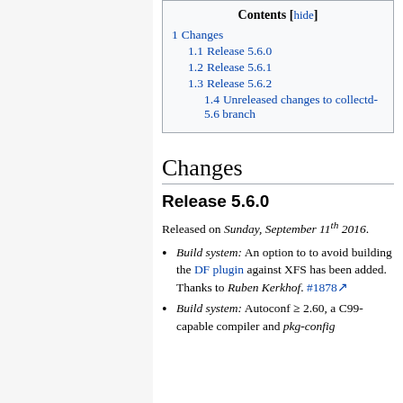| Contents [hide] |
| 1 Changes |
| 1.1 Release 5.6.0 |
| 1.2 Release 5.6.1 |
| 1.3 Release 5.6.2 |
| 1.4 Unreleased changes to collectd-5.6 branch |
Changes
Release 5.6.0
Released on Sunday, September 11th 2016.
Build system: An option to to avoid building the DF plugin against XFS has been added. Thanks to Ruben Kerkhof. #1878
Build system: Autoconf ≥ 2.60, a C99-capable compiler and pkg-config